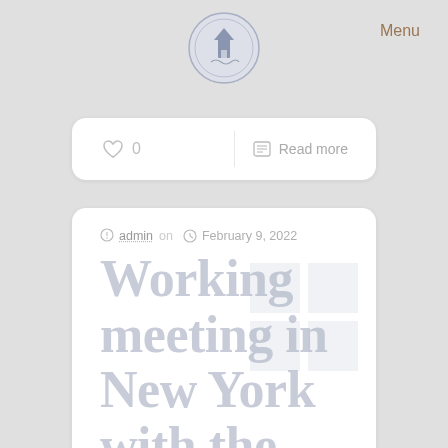Menu
[Figure (logo): Circular institutional seal/logo with building and text border]
♡ 0
Read more
admin on  February 9, 2022
Working meeting in New York with the director of Byzantine Studies of